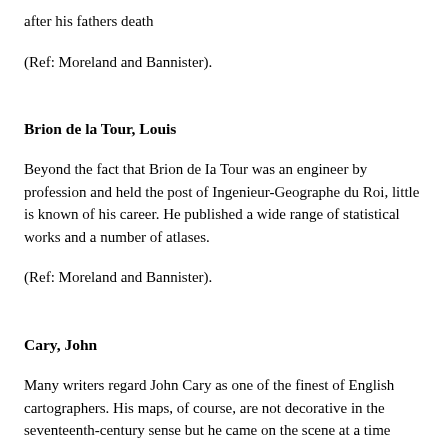after his fathers death
(Ref: Moreland and Bannister).
Brion de la Tour, Louis
Beyond the fact that Brion de Ia Tour was an engineer by profession and held the post of Ingenieur-Geographe du Roi, little is known of his career. He published a wide range of statistical works and a number of atlases.
(Ref: Moreland and Bannister).
Cary, John
Many writers regard John Cary as one of the finest of English cartographers. His maps, of course, are not decorative in the seventeenth-century sense but he came on the scene at a time when the large-scale county maps had recently become available, roads were being used as never before and accurate geographical information from distant countries was being received in greater and greater detail. His fine craftsmanship and